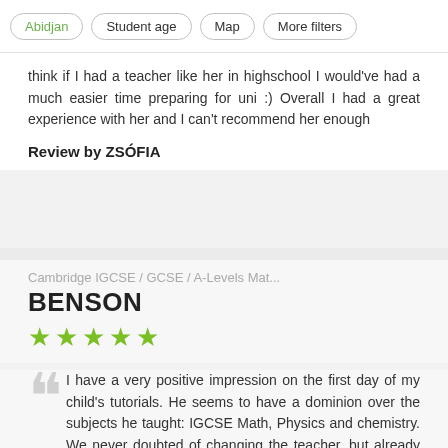Abidjan | Student age | Map | More filters
think if I had a teacher like her in highschool I would've had a much easier time preparing for uni :) Overall I had a great experience with her and I can't recommend her enough
Review by ZSÓFIA
Cambridge IGCSE / GCSE / A-Levels Mat...
BENSON
[Figure (other): 5 green stars rating]
I have a very positive impression on the first day of my child's tutorials. He seems to have a dominion over the subjects he taught: IGCSE Math, Physics and chemistry. We never doubted of changing the teacher, but already agreed to continue a regular reinforcement classes with him